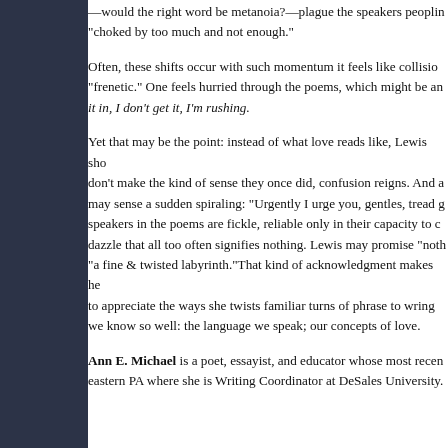—would the right word be metanoia?—plague the speakers peopling "choked by too much and not enough."
Often, these shifts occur with such momentum it feels like collision "frenetic." One feels hurried through the poems, which might be an it in, I don't get it, I'm rushing.
Yet that may be the point: instead of what love reads like, Lewis sho don't make the kind of sense they once did, confusion reigns. And a may sense a sudden spiraling: "Urgently I urge you, gentles, tread g speakers in the poems are fickle, reliable only in their capacity to c dazzle that all too often signifies nothing. Lewis may promise "noth "a fine & twisted labyrinth."That kind of acknowledgment makes he to appreciate the ways she twists familiar turns of phrase to wring we know so well: the language we speak; our concepts of love.
Ann E. Michael is a poet, essayist, and educator whose most recen eastern PA where she is Writing Coordinator at DeSales University.